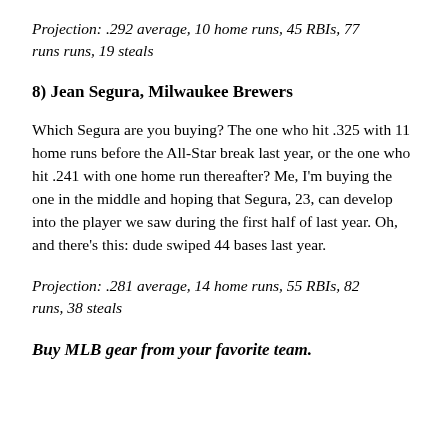Projection: .292 average, 10 home runs, 45 RBIs, 77 runs runs, 19 steals
8) Jean Segura, Milwaukee Brewers
Which Segura are you buying? The one who hit .325 with 11 home runs before the All-Star break last year, or the one who hit .241 with one home run thereafter? Me, I'm buying the one in the middle and hoping that Segura, 23, can develop into the player we saw during the first half of last year. Oh, and there's this: dude swiped 44 bases last year.
Projection: .281 average, 14 home runs, 55 RBIs, 82 runs, 38 steals
Buy MLB gear from your favorite team.